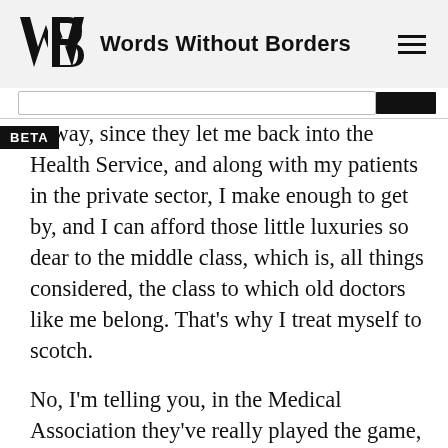Words Without Borders
…way, since they let me back into the Health Service, and along with my patients in the private sector, I make enough to get by, and I can afford those little luxuries so dear to the middle class, which is, all things considered, the class to which old doctors like me belong. That's why I treat myself to scotch.
No, I'm telling you, in the Medical Association they've really played the game, I can't begin to tell you how they've put up with me, and keep on putting up with me. The thing is, I need that fourth glass. Look at my hand: the tremor begins in the supinator of the forearm, and goes down to…